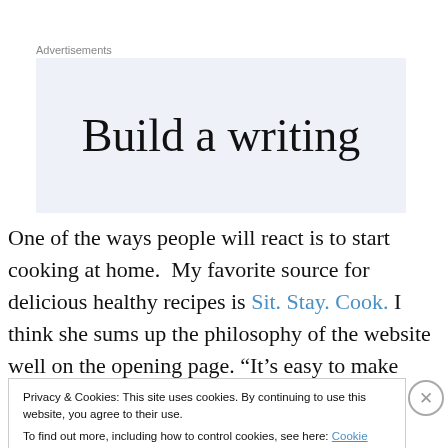Advertisements
[Figure (other): Advertisement box with text 'Build a writing' on light blue background]
One of the ways people will react is to start cooking at home.  My favorite source for delicious healthy recipes is Sit. Stay. Cook. I think she sums up the philosophy of the website well on the opening page. “It’s easy to make food
Privacy & Cookies: This site uses cookies. By continuing to use this website, you agree to their use.
To find out more, including how to control cookies, see here: Cookie Policy
Close and accept